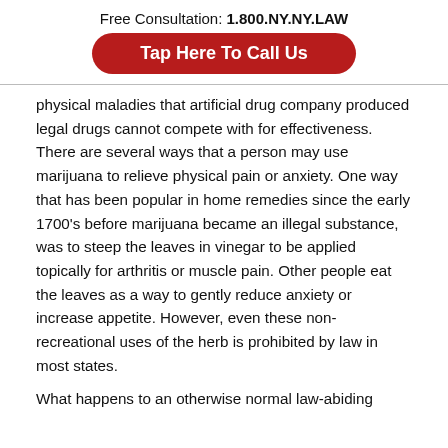Free Consultation: 1.800.NY.NY.LAW
Tap Here To Call Us
physical maladies that artificial drug company produced legal drugs cannot compete with for effectiveness. There are several ways that a person may use marijuana to relieve physical pain or anxiety. One way that has been popular in home remedies since the early 1700’s before marijuana became an illegal substance, was to steep the leaves in vinegar to be applied topically for arthritis or muscle pain. Other people eat the leaves as a way to gently reduce anxiety or increase appetite. However, even these non-recreational uses of the herb is prohibited by law in most states.
What happens to an otherwise normal law-abiding